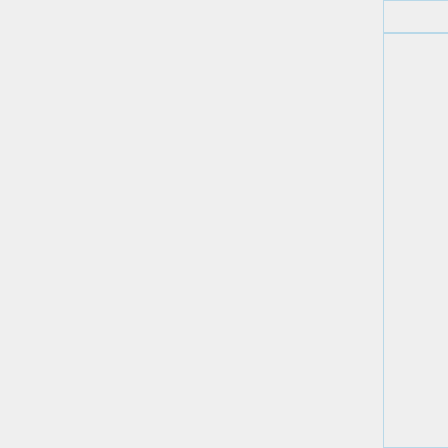| (image) | Name | Country | Description |
| --- | --- | --- | --- |
|  |  |  | jelly bean no... |
|  | Good & Fruity | USA | Like Good & only with che flavored cand center instea licorice, and different flav coating base color. Origina were raspber cherry, lime, and orange. the center ca changed to m exterior colo candy freque out of produc was brought 2008 with ras replaced with |